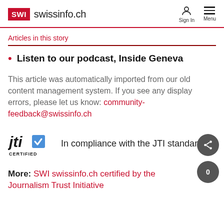SWI swissinfo.ch — Sign In  Menu
Articles in this story
Listen to our podcast, Inside Geneva
This article was automatically imported from our old content management system. If you see any display errors, please let us know: community-feedback@swissinfo.ch
In compliance with the JTI standards
More: SWI swissinfo.ch certified by the Journalism Trust Initiative